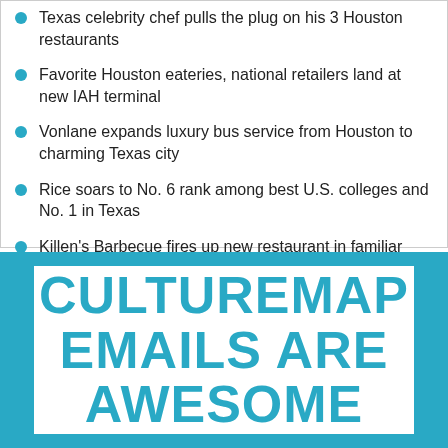Texas celebrity chef pulls the plug on his 3 Houston restaurants
Favorite Houston eateries, national retailers land at new IAH terminal
Vonlane expands luxury bus service from Houston to charming Texas city
Rice soars to No. 6 rank among best U.S. colleges and No. 1 in Texas
Killen's Barbecue fires up new restaurant in familiar Cypress space
[Figure (infographic): CultureMap promotional banner with cyan border on cyan background containing white inner box with text 'CULTUREMAP EMAILS ARE AWESOME' in large cyan bold uppercase letters]